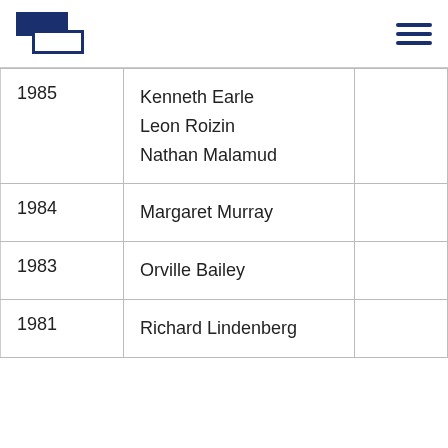Logo and navigation menu
| Year | Name |  |
| --- | --- | --- |
| 1985 | Kenneth Earle
Leon Roizin
Nathan Malamud |  |
| 1984 | Margaret Murray |  |
| 1983 | Orville Bailey |  |
| 1981 | Richard Lindenberg |  |